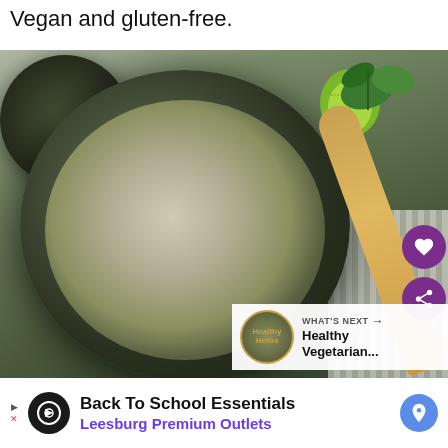Vegan and gluten-free.
[Figure (photo): Overhead food photography showing a dark bowl filled with mung bean or lentil stew garnished with cilantro, red chili flakes, in creamy coconut broth. A lime wedge, herb sprigs, and a partial bowl are visible in the background. A gold spoon rests in the bowl on a striped cloth napkin.]
WHAT'S NEXT → Healthy Vegetarian...
Back To School Essentials
Leesburg Premium Outlets